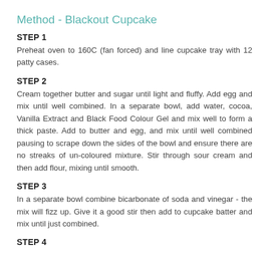Method - Blackout Cupcake
STEP 1
Preheat oven to 160C (fan forced) and line cupcake tray with 12 patty cases.
STEP 2
Cream together butter and sugar until light and fluffy. Add egg and mix until well combined. In a separate bowl, add water, cocoa, Vanilla Extract and Black Food Colour Gel and mix well to form a thick paste. Add to butter and egg, and mix until well combined pausing to scrape down the sides of the bowl and ensure there are no streaks of un-coloured mixture. Stir through sour cream and then add flour, mixing until smooth.
STEP 3
In a separate bowl combine bicarbonate of soda and vinegar - the mix will fizz up. Give it a good stir then add to cupcake batter and mix until just combined.
STEP 4